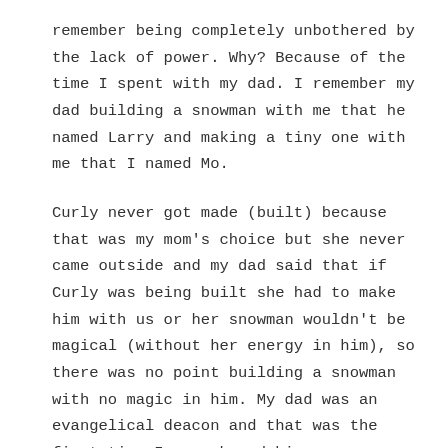remember being completely unbothered by the lack of power. Why? Because of the time I spent with my dad. I remember my dad building a snowman with me that he named Larry and making a tiny one with me that I named Mo.
Curly never got made (built) because that was my mom’s choice but she never came outside and my dad said that if Curly was being built she had to make him with us or her snowman wouldn’t be magical (without her energy in him), so there was no point building a snowman with no magic in him. My dad was an evangelical deacon and that was the first time I ever heard him